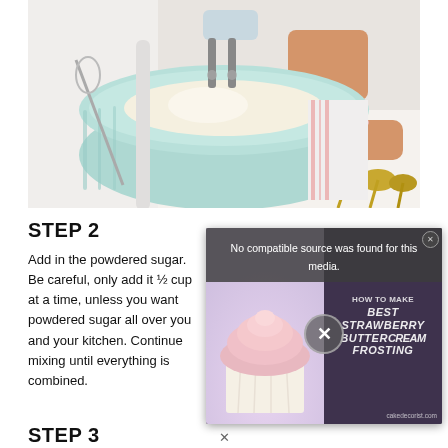[Figure (photo): A person in white chef attire using a hand mixer in a mint/seafoam green bowl, mixing what appears to be butter or cream. Kitchen tools visible including a whisk, spatula, and gold measuring spoons on a white surface.]
STEP 2
Add in the powdered sugar. Be careful, only add it ½ cup at a time, unless you want powdered sugar all over you and your kitchen. Continue mixing until everything is combined.
[Figure (screenshot): Video overlay popup showing a cupcake with pink frosting on the left, and text on the right reading 'HOW TO MAKE BEST STRAWBERRY BUTTERCREAM FROSTING' with cakedecorist.com. An error message bar reads 'No compatible source was found for this media.' A large X dismiss button is visible in the center.]
STEP 3